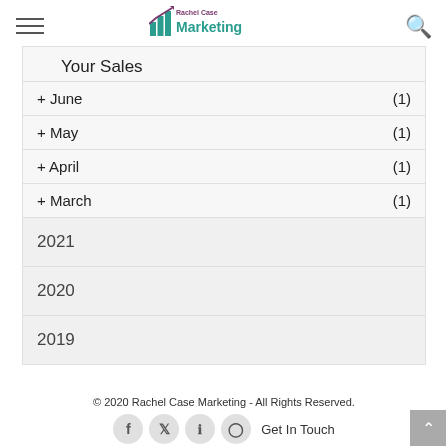Rachel Case Marketing
Your Sales
+ June (1)
+ May (1)
+ April (1)
+ March (1)
2021
2020
2019
© 2020 Rachel Case Marketing - All Rights Reserved.
Get In Touch